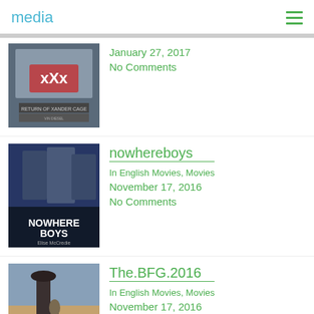media
[Figure (photo): Movie poster for xXx: Return of Xander Cage (partially visible at top)]
January 27, 2017
No Comments
nowhereboys
[Figure (photo): Movie poster for Nowhere Boys by Elise McCredie]
In English Movies, Movies
November 17, 2016
No Comments
The.BFG.2016
[Figure (photo): Movie poster for The BFG 2016]
In English Movies, Movies
November 17, 2016
No Comments